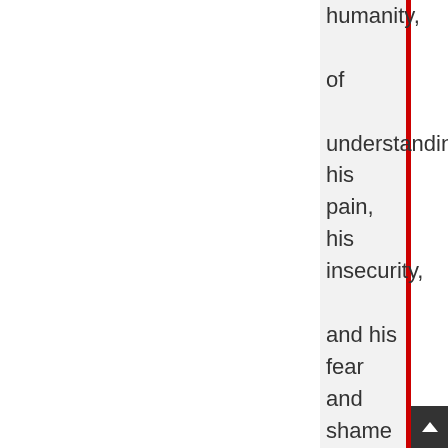humanity, of understanding his pain, his insecurity, and his fear and shame that drove him to these behaviors. Perhaps this will give you peace, greater self-understanding